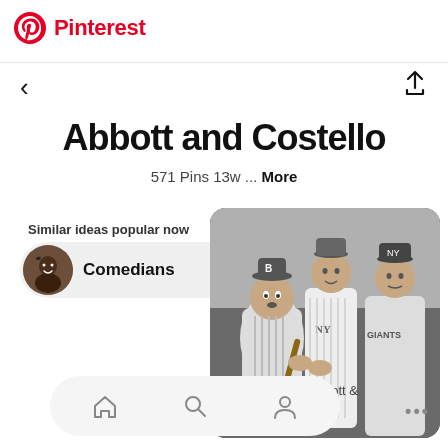Pinterest
Abbott and Costello
571 Pins 13w ... More
Similar ideas popular now
Comedians
[Figure (photo): Black and white photo of Abbott and Costello with baseball players in NY Giants and Dodgers uniforms]
n Abbott &
Home, Search, Profile navigation icons and more options